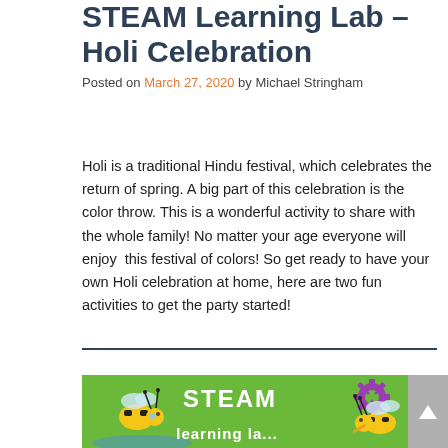STEAM Learning Lab – Holi Celebration
Posted on March 27, 2020 by Michael Stringham
Holi is a traditional Hindu festival, which celebrates the return of spring. A big part of this celebration is the color throw. This is a wonderful activity to share with the whole family! No matter your age everyone will enjoy  this festival of colors! So get ready to have your own Holi celebration at home, here are two fun activities to get the party started!
[Figure (illustration): STEAM Learning Lab banner with cartoon bees, gears on a green background with white text reading STEAM and learning lab]